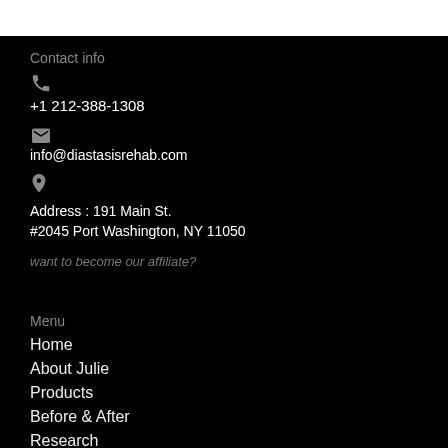Contact info
+1 212-388-1308
info@diastasisrehab.com
Address : 191 Main St.
#2045 Port Washington, NY 11050
want to become our affiliate?
Menu
Home
About Julie
Products
Before & After
Research